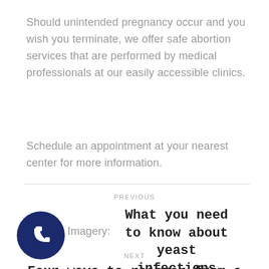Should unintended pregnancy occur and you wish you terminate, we offer safe abortion services that are performed by medical professionals at our easily accessible clinics.
Schedule an appointment at your nearest center for more information.
Related Imagery:
PREVIOUS
What you need to know about yeast infections
[Figure (illustration): Dark navy blue circular phone/call button icon with white telephone handset symbol]
NEXT
Four ways to recover from a breakup